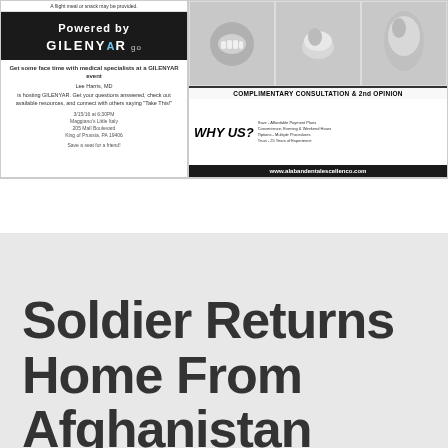[Figure (other): Left advertisement for GILENYAR go event - medical appointment information with event details: Lee Harris, MD, 3/15/16 at 6:30PM, Maggiano's Little Italy, 205 Mall Boulevard, King of Prussia, PA 19406]
[Figure (other): Right advertisement for dental office with tooth imagery and text: COMPLIMENTARY CONSULTATION & 2nd OPINION, WHY US?, with website www.alabandentalescellenco.com]
Soldier Returns Home From Afghanistan